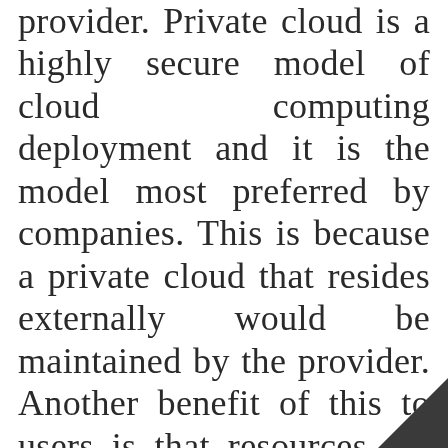provider. Private cloud is a highly secure model of cloud computing deployment and it is the model most preferred by companies. This is because a private cloud that resides externally would be maintained by the provider. Another benefit of this to users is that resources are allocated to just one client and this creates an infrastructure that is custom built to provide immense stability and performance. Billing for services of internal users may be throu